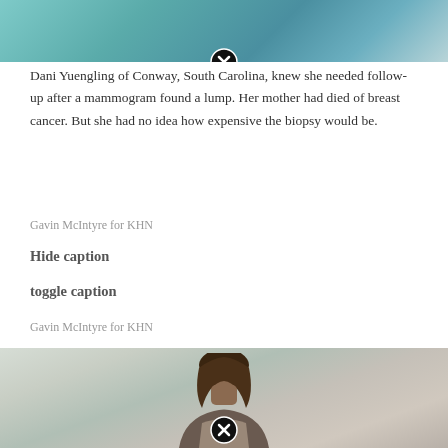[Figure (photo): Top portion of a photo, teal/cyan background setting, partially visible]
Dani Yuengling of Conway, South Carolina, knew she needed follow-up after a mammogram found a lump. Her mother had died of breast cancer. But she had no idea how expensive the biopsy would be.
Gavin McIntyre for KHN
Hide caption
toggle caption
Gavin McIntyre for KHN
[Figure (photo): Photo of a Black woman with shoulder-length brown hair looking upward, against a light grey/green background]